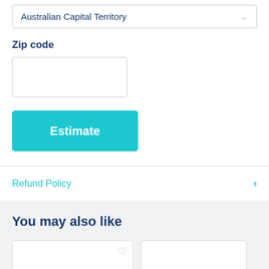Australian Capital Territory
Zip code
[Figure (screenshot): Empty zip code input field]
[Figure (screenshot): Estimate button in teal/cyan color]
Refund Policy
You may also like
[Figure (screenshot): Product card placeholder with heart icon]